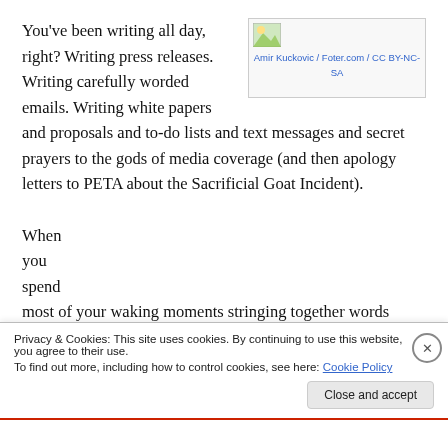You've been writing all day, right? Writing press releases. Writing carefully worded emails. Writing white papers and proposals and to-do lists and text messages and secret prayers to the gods of media coverage (and then apology letters to PETA about the Sacrificial Goat Incident).
[Figure (photo): Small placeholder image thumbnail with attribution: Amir Kuckovic / Foter.com / CC BY-NC-SA]
When you spend most of your waking moments stringing together words
Privacy & Cookies: This site uses cookies. By continuing to use this website, you agree to their use.
To find out more, including how to control cookies, see here: Cookie Policy